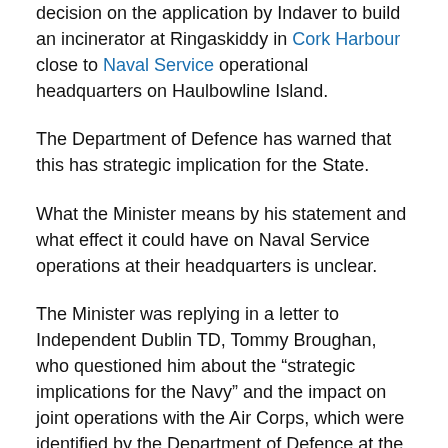decision on the application by Indaver to build an incinerator at Ringaskiddy in Cork Harbour close to Naval Service operational headquarters on Haulbowline Island.
The Department of Defence has warned that this has strategic implication for the State.
What the Minister means by his statement and what effect it could have on Naval Service operations at their headquarters is unclear.
The Minister was replying in a letter to Independent Dublin TD, Tommy Broughan, who questioned him about the “strategic implications for the Navy” and the impact on joint operations with the Air Corps, which were identified by the Department of Defence at the Bord Pleanala inquiry hearing into the Indaver planning application.
Mr.Kehoe said in his letter “As the planning application on the